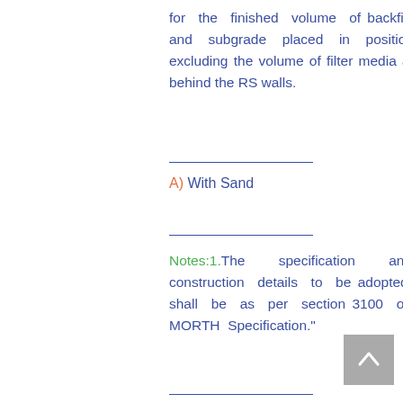for the finished volume of backfill and subgrade placed in position excluding the volume of filter media at behind the RS walls.
A) With Sand
Notes: 1.The specification and construction details to be adopted shall be as per section 3100 of MORTH Specification."
2.For compaction of Earthwork, attention is invited to clause 3105.5